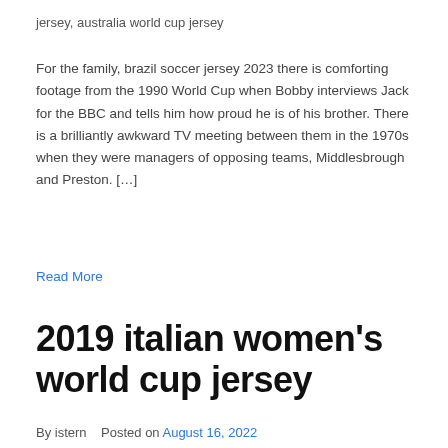jersey, australia world cup jersey
For the family, brazil soccer jersey 2023 there is comforting footage from the 1990 World Cup when Bobby interviews Jack for the BBC and tells him how proud he is of his brother. There is a brilliantly awkward TV meeting between them in the 1970s when they were managers of opposing teams, Middlesbrough and Preston. […]
Read More
2019 italian women's world cup jersey
By istern   Posted on August 16, 2022